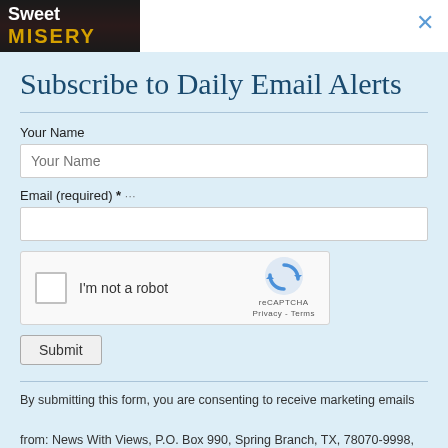[Figure (logo): Sweet Misery logo — dark background with 'Sweet' in white and 'MISERY' in gold/yellow bold text]
Subscribe to Daily Email Alerts
Your Name
Email (required) *
[Figure (other): reCAPTCHA widget with checkbox labeled 'I'm not a robot' and reCAPTCHA logo with Privacy - Terms links]
Submit
By submitting this form, you are consenting to receive marketing emails from: News With Views, P.O. Box 990, Spring Branch, TX, 78070-9998,